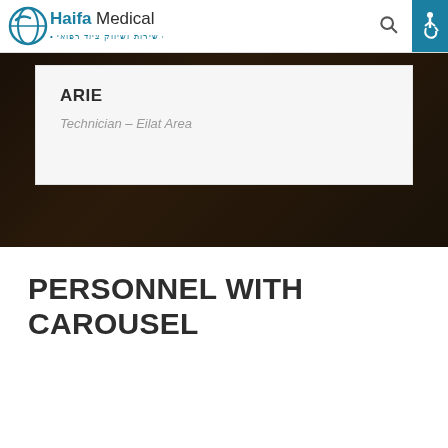[Figure (logo): Haifa Medical logo with Hebrew subtitle text]
ARIE
Technician - Eilat Area
PERSONNEL WITH CAROUSEL